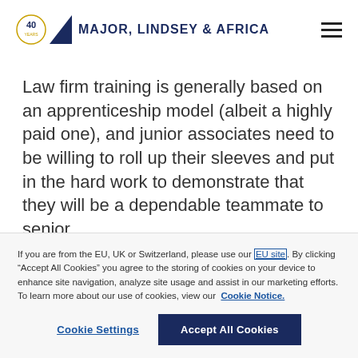[Figure (logo): Major, Lindsey & Africa logo with 40th anniversary badge, navy triangle, and company name text]
Law firm training is generally based on an apprenticeship model (albeit a highly paid one), and junior associates need to be willing to roll up their sleeves and put in the hard work to demonstrate that they will be a dependable teammate to senior
If you are from the EU, UK or Switzerland, please use our EU site. By clicking “Accept All Cookies” you agree to the storing of cookies on your device to enhance site navigation, analyze site usage and assist in our marketing efforts. To learn more about our use of cookies, view our Cookie Notice.
Cookie Settings
Accept All Cookies